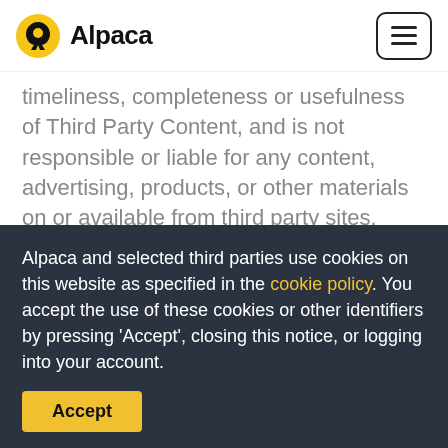Alpaca
timeliness, completeness or usefulness of Third Party Content, and is not responsible or liable for any content, advertising, products, or other materials on or available from third party sites.
Please note that this article is for general informational purposes only. All screenshots are for illustrative purposes only. The views and opinions
Alpaca and selected third parties use cookies on this website as specified in the cookie policy. You accept the use of these cookies or other identifiers by pressing 'Accept', closing this notice, or logging into your account.
Accept